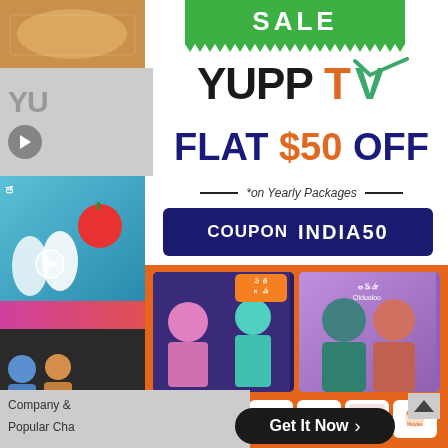[Figure (screenshot): YuppTV website screenshot showing a promotional advertisement. Left sidebar shows thumbnail images of TV shows. Main content area features a green SALE banner, YuppTV logo, FLAT $50 OFF on Yearly Packages offer, COUPON INDIA50 code, Telugu TV show images on orange background with channel logos (Zee Telugu, Gemini TV, ETV, Zee Cinemalu, TV9, Gemini Movies). Bottom shows Company & and Popular Cha partial text, and a Get It Now button.]